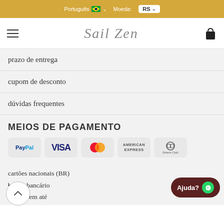Português 🇧🇷 ∨   Moeda: RS ∨
[Figure (logo): Sail Zen logo in cursive script, centered in navigation bar with hamburger menu on left and cart icon on right]
prazo de entrega
cupom de desconto
dúvidas frequentes
MEIOS DE PAGAMENTO
[Figure (infographic): Payment method logos: PayPal, VISA, MasterCard, American Express, Diners Club]
cartões nacionais (BR)
boleto bancário
parcele em até
[Figure (other): Back to top circular button with upward chevron]
[Figure (other): Ajuda (Help) button with WhatsApp icon]